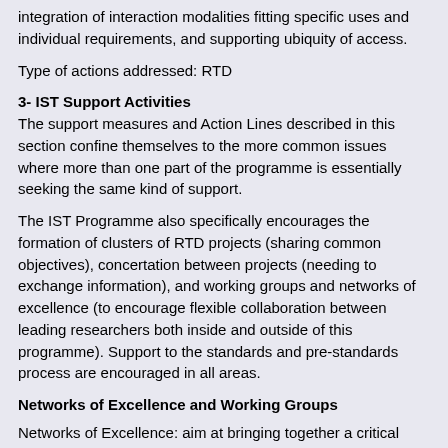integration of interaction modalities fitting specific uses and individual requirements, and supporting ubiquity of access.
Type of actions addressed: RTD
3- IST Support Activities
The support measures and Action Lines described in this section confine themselves to the more common issues where more than one part of the programme is essentially seeking the same kind of support.
The IST Programme also specifically encourages the formation of clusters of RTD projects (sharing common objectives), concertation between projects (needing to exchange information), and working groups and networks of excellence (to encourage flexible collaboration between leading researchers both inside and outside of this programme). Support to the standards and pre-standards process are encouraged in all areas.
Networks of Excellence and Working Groups
Networks of Excellence: aim at bringing together a critical mass of industrial and academic research groups to co-ordinate their research or other activities in order to advance towards common strategic goals. Networks of Excellence can be particularly beneficial for groups and organisations in outlying regions through the channel they provide for training, technology transfer, and access to